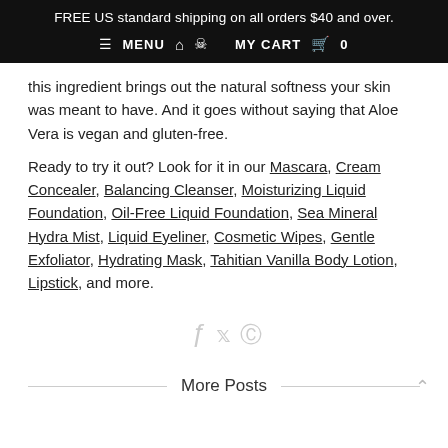FREE US standard shipping on all orders $40 and over.
≡ MENU 🏠 👤 MY CART 🛍 0
this ingredient brings out the natural softness your skin was meant to have. And it goes without saying that Aloe Vera is vegan and gluten-free.
Ready to try it out? Look for it in our Mascara, Cream Concealer, Balancing Cleanser, Moisturizing Liquid Foundation, Oil-Free Liquid Foundation, Sea Mineral Hydra Mist, Liquid Eyeliner, Cosmetic Wipes, Gentle Exfoliator, Hydrating Mask, Tahitian Vanilla Body Lotion, Lipstick, and more.
[Figure (other): Social share icons: Facebook, Twitter, Pinterest in light gray]
More Posts